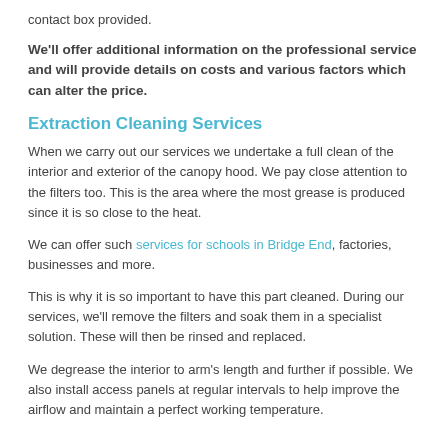contact box provided.
We'll offer additional information on the professional service and will provide details on costs and various factors which can alter the price.
Extraction Cleaning Services
When we carry out our services we undertake a full clean of the interior and exterior of the canopy hood. We pay close attention to the filters too. This is the area where the most grease is produced since it is so close to the heat.
We can offer such services for schools in Bridge End, factories, businesses and more.
This is why it is so important to have this part cleaned. During our services, we'll remove the filters and soak them in a specialist solution. These will then be rinsed and replaced.
We degrease the interior to arm's length and further if possible. We also install access panels at regular intervals to help improve the airflow and maintain a perfect working temperature.